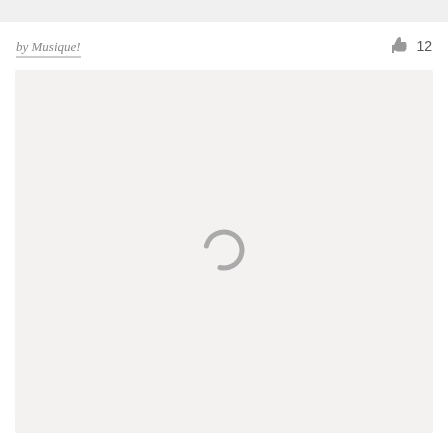by Musique!
12
[Figure (other): Loading spinner icon — a grey partial arc/circle indicating content is loading, centered in a light grey content area]